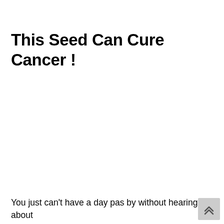This Seed Can Cure Cancer !
You just can't have a day pas by without hearing about